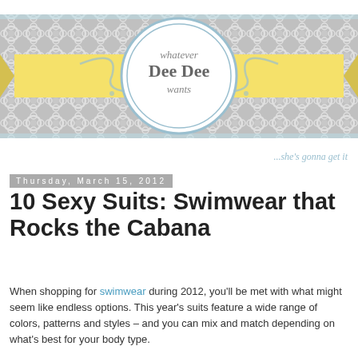[Figure (logo): Whatever Dee Dee Wants blog header logo with circular emblem, yellow ribbon banner, gray quatrefoil pattern background, and tagline '...she's gonna get it']
Thursday, March 15, 2012
10 Sexy Suits: Swimwear that Rocks the Cabana
When shopping for swimwear during 2012, you'll be met with what might seem like endless options. This year's suits feature a wide range of colors, patterns and styles – and you can mix and match depending on what's best for your body type.